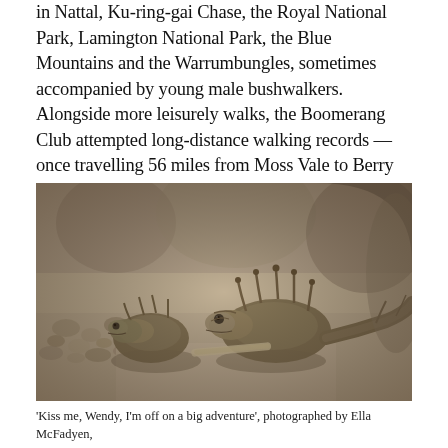in Nattal, Ku-ring-gai Chase, the Royal National Park, Lamington National Park, the Blue Mountains and the Warrumbungles, sometimes accompanied by young male bushwalkers. Alongside more leisurely walks, the Boomerang Club attempted long-distance walking records — once travelling 56 miles from Moss Vale to Berry in a single day.
[Figure (photo): Sepia-toned black and white photograph of two thorny devil lizards (Moloch horridus) on a rocky/sandy surface, shot close-up with shallow depth of field. The lizards are facing slightly right, with spiny scales visible.]
'Kiss me, Wendy, I'm off on a big adventure', photographed by Ella McFadyen,